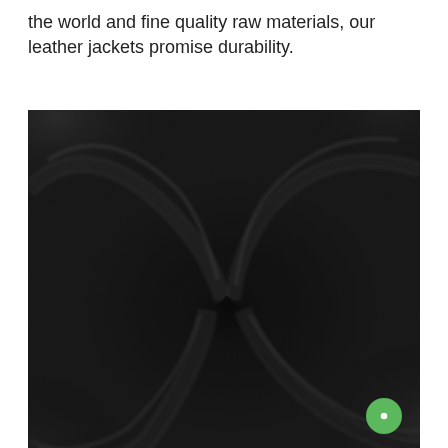the world and fine quality raw materials, our leather jackets promise durability.
[Figure (photo): Close-up photograph of black leather material with natural grain texture, showing deep folds and creases that form a swirling pattern, with light reflecting off the smooth surfaces.]